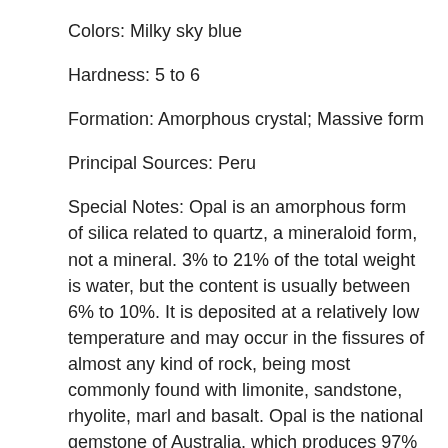Colors: Milky sky blue
Hardness: 5 to 6
Formation: Amorphous crystal; Massive form
Principal Sources: Peru
Special Notes: Opal is an amorphous form of silica related to quartz, a mineraloid form, not a mineral. 3% to 21% of the total weight is water, but the content is usually between 6% to 10%. It is deposited at a relatively low temperature and may occur in the fissures of almost any kind of rock, being most commonly found with limonite, sandstone, rhyolite, marl and basalt. Opal is the national gemstone of Australia, which produces 97% of the world’s supply. Opal’s internal structure makes it diffract light; depending on the conditions in which it formed it can take on many colors. Opal ranges from clear through